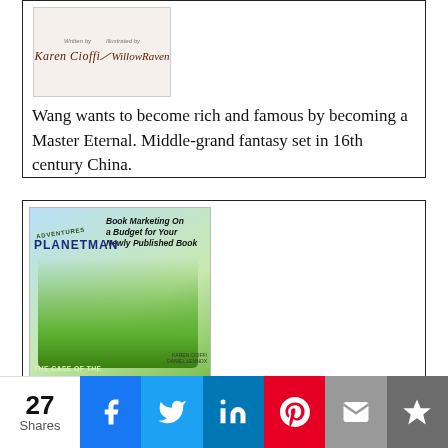[Figure (illustration): Book cover with author names Karen Cioffi and WillowRaven with a signature/quill graphic]
Wang wants to become rich and famous by becoming a Master Eternal. Middle-grand fantasy set in 16th century China.
[Figure (illustration): Book cover for 'The Adventures of Planetman: The Case of the Plastic Rings' with illustration of superhero characters flying, and overlay text 'Book Marketing On a Budget for Your Newly Published Book']
Can Thomas and his friends save the puppy tangled in plastic rings?
27 Shares | Facebook | Twitter | LinkedIn | Pinterest | Email | Bookmark